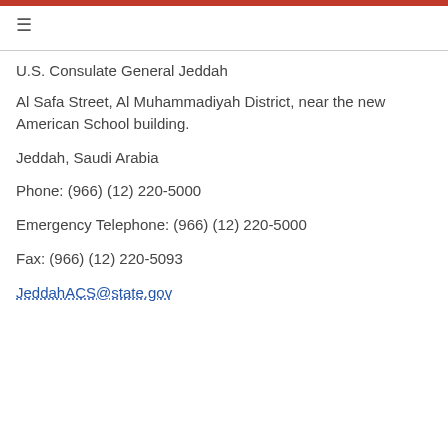≡
U.S. Consulate General Jeddah
Al Safa Street, Al Muhammadiyah District, near the new American School building.
Jeddah, Saudi Arabia
Phone: (966) (12) 220-5000
Emergency Telephone: (966) (12) 220-5000
Fax: (966) (12) 220-5093
JeddahACS@state.gov